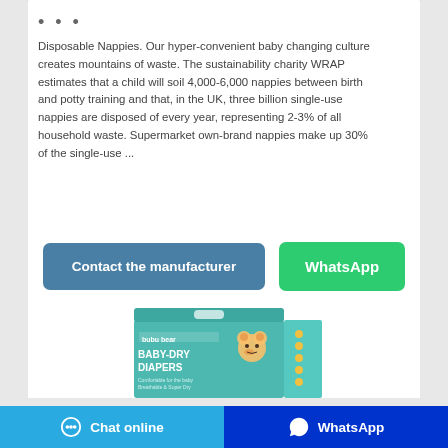• • •
Disposable Nappies. Our hyper-convenient baby changing culture creates mountains of waste. The sustainability charity WRAP estimates that a child will soil 4,000-6,000 nappies between birth and potty training and that, in the UK, three billion single-use nappies are disposed of every year, representing 2-3% of all household waste. Supermarket own-brand nappies make up 30% of the single-use ...
[Figure (screenshot): Two buttons: 'Contact the manufacturer' (steel blue) and 'WhatsApp' (green)]
[Figure (photo): bubu bear BABY-DRY DIAPERS product box in teal/mint color with bear illustration]
Chat online   WhatsApp